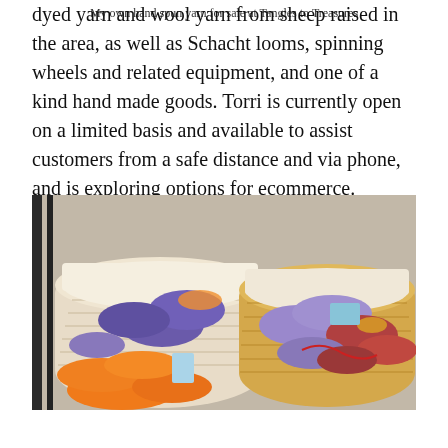dyed yarn and wool yarn from sheep raised in the area, as well as Schacht looms, spinning wheels and related equipment, and one of a kind hand made goods. Torri is currently open on a limited basis and available to assist customers from a safe distance and via phone, and is exploring options for ecommerce.
[Figure (photo): Two wicker/fabric baskets filled with colorful skeins of hand spun yarn in orange, purple, and red tones, placed on a granite or tiled surface near a metal rack.]
My own hand spun yarn for sale at Tangles to Treasures